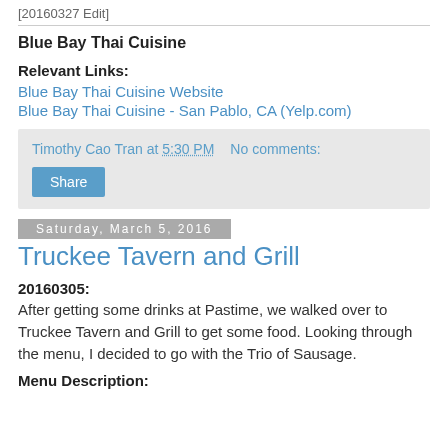[20160327 Edit]
Blue Bay Thai Cuisine
Relevant Links:
Blue Bay Thai Cuisine Website
Blue Bay Thai Cuisine - San Pablo, CA (Yelp.com)
Timothy Cao Tran at 5:30 PM    No comments:
Share
Saturday, March 5, 2016
Truckee Tavern and Grill
20160305:
After getting some drinks at Pastime, we walked over to Truckee Tavern and Grill to get some food. Looking through the menu, I decided to go with the Trio of Sausage.
Menu Description: